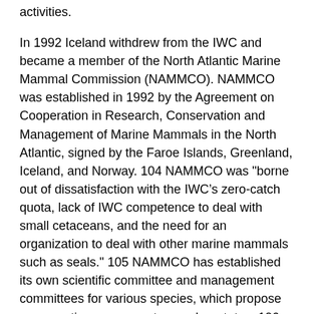activities.
In 1992 Iceland withdrew from the IWC and became a member of the North Atlantic Marine Mammal Commission (NAMMCO). NAMMCO was established in 1992 by the Agreement on Cooperation in Research, Conservation and Management of Marine Mammals in the North Atlantic, signed by the Faroe Islands, Greenland, Iceland, and Norway. 104 NAMMCO was "borne out of dissatisfaction with the IWC’s zero-catch quota, lack of IWC competence to deal with small cetaceans, and the need for an organization to deal with other marine mammals such as seals." 105 NAMMCO has established its own scientific committee and management committees for various species, which propose conservation measures to member states. 106
4. Norway
Norway has a long and established tradition of whaling. The Norwegians have hunted minke whales (v<ring a>gehval) for